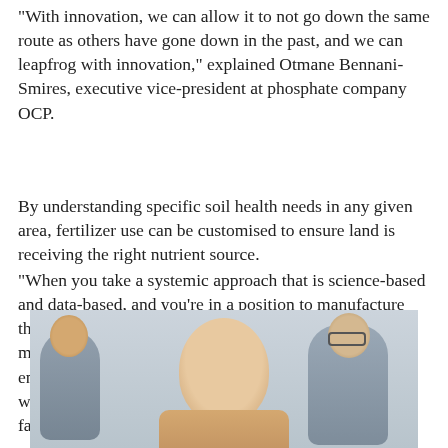“With innovation, we can allow it to not go down the same route as others have gone down in the past, and we can leapfrog with innovation,” explained Otmane Bennani-Smires, executive vice-president at phosphate company OCP.
By understanding specific soil health needs in any given area, fertilizer use can be customised to ensure land is receiving the right nutrient source.
“When you take a systemic approach that is science-based and data-based, and you’re in a position to manufacture the right type of fertilizer, it is lower [cost] to manufacture, it has bigger yields, it’s better for the environment because you’re providing the soil and crops with just the right nutrients needs, and it’s better for the farmers,” added Otmane.
[Figure (photo): Photo of a bald man in the foreground (Otmane Bennani-Smires), with two other people visible in the background.]